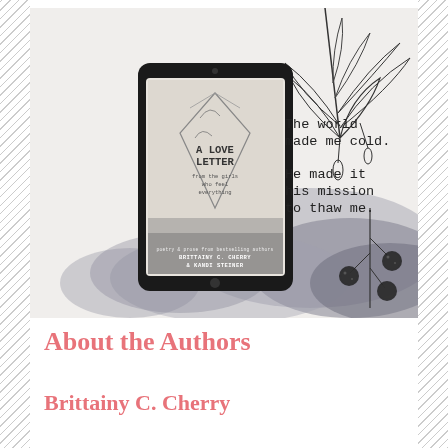[Figure (illustration): Book promotion image for 'A Love Letter from the Girls Who Feel Everything' by Brittainy C. Cherry and Kandi Steiner. Shows a tablet displaying the book cover with botanical line-art drawings on a watercolor background. Quote text reads: 'The world made me cold. He made it his mission to thaw me.' Decorative botanical illustrations of leaves and berries surround the scene.]
About the Authors
Brittainy C. Cherry